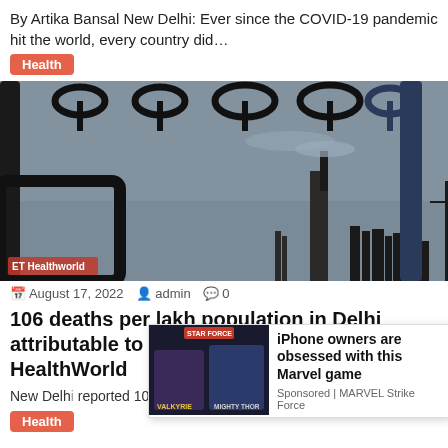By Artika Bansal New Delhi: Ever since the COVID-19 pandemic hit the world, every country did…
Health
[Figure (photo): Photo of industrial smokestacks seen through metro handrails/bars, smoky sky in background. ET HealthWorld watermark visible.]
August 17, 2022  admin  0
106 deaths per lakh population in Delhi attributable to PM2.5 pollution: Report – ET HealthWorld
New Delhi reported 106 and 99 deaths per 1 lakh popu
Health
[Figure (advertisement): Ad overlay: Marvel Strike Force game ad showing Valkyrie and Mighty Thor characters. Text: iPhone owners are obsessed with this Marvel game. Sponsored | MARVEL Strike Force]